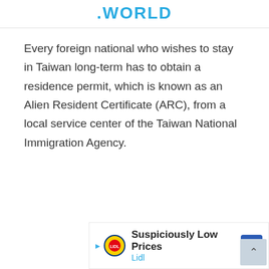.WORLD
Every foreign national who wishes to stay in Taiwan long-term has to obtain a residence permit, which is known as an Alien Resident Certificate (ARC), from a local service center of the Taiwan National Immigration Agency.
[Figure (other): Lidl advertisement banner: 'Suspiciously Low Prices' with Lidl logo and navigation arrow icon]